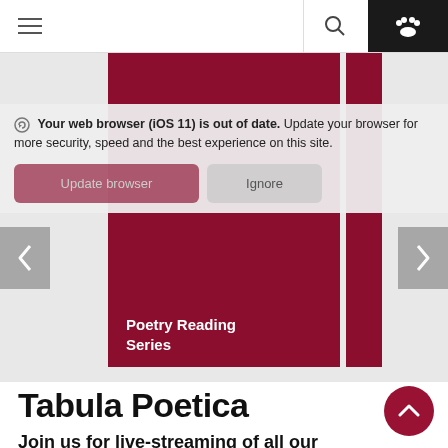≡  🔍  🐾
[Figure (screenshot): University website screenshot showing a dark red/maroon carousel banner with 'Poetry Reading Series' text, navigation bar with hamburger menu, search icon, and paw icon, overlaid with a browser update notification bar and Update browser / Ignore buttons, and left/right carousel arrows]
Your web browser (iOS 11) is out of date. Update your browser for more security, speed and the best experience on this site.
Update browser   Ignore
Poetry Reading Series
Tabula Poetica
Join us for live-streaming of all our events for Fall 2020 on the Tabula...